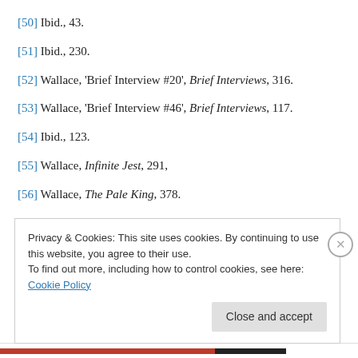[50] Ibid., 43.
[51] Ibid., 230.
[52] Wallace, 'Brief Interview #20', Brief Interviews, 316.
[53] Wallace, 'Brief Interview #46', Brief Interviews, 117.
[54] Ibid., 123.
[55] Wallace, Infinite Jest, 291,
[56] Wallace, The Pale King, 378.
Privacy & Cookies: This site uses cookies. By continuing to use this website, you agree to their use. To find out more, including how to control cookies, see here: Cookie Policy
Close and accept